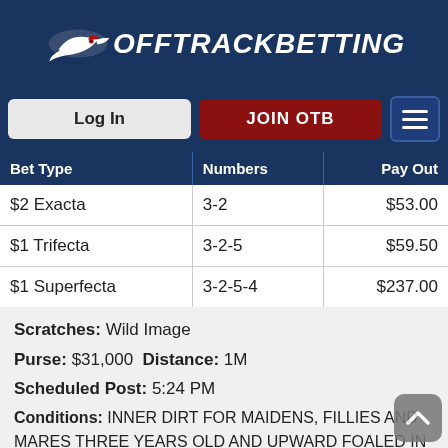OffTrackBetting
| Bet Type | Numbers | Pay Out |
| --- | --- | --- |
| $2 Exacta | 3-2 | $53.00 |
| $1 Trifecta | 3-2-5 | $59.50 |
| $1 Superfecta | 3-2-5-4 | $237.00 |
Scratches: Wild Image
Purse: $31,000 Distance: 1M
Scheduled Post: 5:24 PM
Conditions: INNER DIRT FOR MAIDENS, FILLIES AND MARES THREE YEARS OLD AND UPWARD FOALED IN NEW YORK STATE AND APPROVED BY THE NEW YORK STATE-BRED REGISTRY. Three Yr Olds, 121 lbs.; Older, 124 lbs. Claiming Price $25,000.